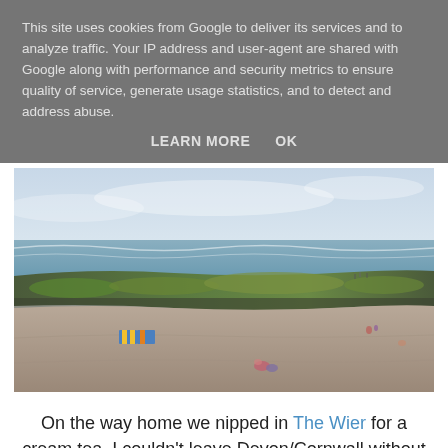This site uses cookies from Google to deliver its services and to analyze traffic. Your IP address and user-agent are shared with Google along with performance and security metrics to ensure quality of service, generate usage statistics, and to detect and address abuse.
LEARN MORE   OK
[Figure (photo): A beach scene at low tide showing sandy shore, a rocky reef with green seaweed/algae, distant ocean waves, light blue hazy sky, a few people sitting on the beach, and some colourful beach tents or windbreaks in the middle distance.]
On the way home we nipped in The Wier for a cream tea, I couldn't leave Devon/Cornwall without having one. The